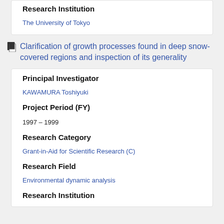Research Institution
The University of Tokyo
Clarification of growth processes found in deep snow-covered regions and inspection of its generality
Principal Investigator
KAWAMURA Toshiyuki
Project Period (FY)
1997 – 1999
Research Category
Grant-in-Aid for Scientific Research (C)
Research Field
Environmental dynamic analysis
Research Institution